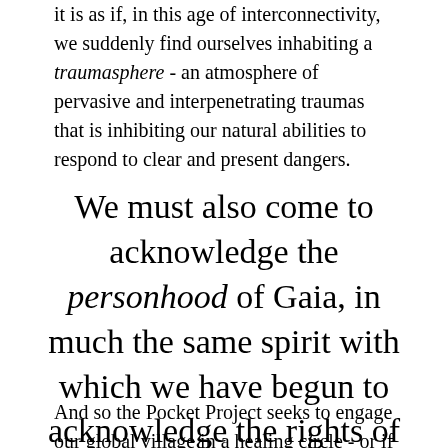it is as if, in this age of interconnectivity, we suddenly find ourselves inhabiting a traumasphere - an atmosphere of pervasive and interpenetrating traumas that is inhibiting our natural abilities to respond to clear and present dangers.
We must also come to acknowledge the personhood of Gaia, in much the same spirit with which we have begun to acknowledge the rights of nature.
And so the Pocket Project seeks to engage our global village in a healing circle - or if you